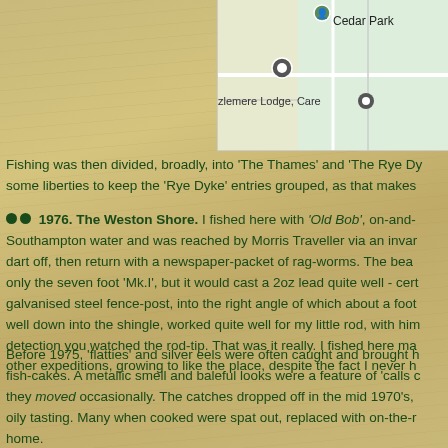[Figure (screenshot): Map screenshot showing Cedar Park location marker and 'zlemere Lodge, Care' label with a circular location pin icon]
Fishing was then divided, broadly, into 'The Thames' and 'The Rye Dy... some liberties to keep the 'Rye Dyke' entries grouped, as that makes
1976. The Weston Shore. I fished here with 'Old Bob', on-and-... Southampton water and was reached by Morris Traveller via an invar... dart off, then return with a newspaper-packet of rag-worms. The bea... only the seven foot 'Mk.I', but it would cast a 2oz lead quite well - cert... galvanised steel fence-post, into the right angle of which about a foot... well down into the shingle, worked quite well for my little rod, with him... detection you watched the rod-tip. That was it really. I fished here ma... other expeditions, growing to like the place, despite the fact I never h
Before 1975, 'flatties' and silver eels were often caught and brought h... fish-cakes. A metallic smell and baleful looks were a feature of 'calls c... they moved occasionally. The catches dropped off in the mid 1970's,... oily tasting. Many when cooked were spat out, replaced with on-the-r... home.